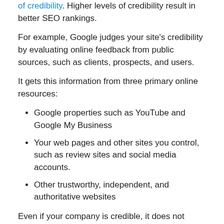of credibility. Higher levels of credibility result in better SEO rankings.
For example, Google judges your site's credibility by evaluating online feedback from public sources, such as clients, prospects, and users.
It gets this information from three primary online resources:
Google properties such as YouTube and Google My Business
Your web pages and other sites you control, such as review sites and social media accounts.
Other trustworthy, independent, and authoritative websites
Even if your company is credible, it does not necessarily mean that your website conveys it. Consider the factors below to